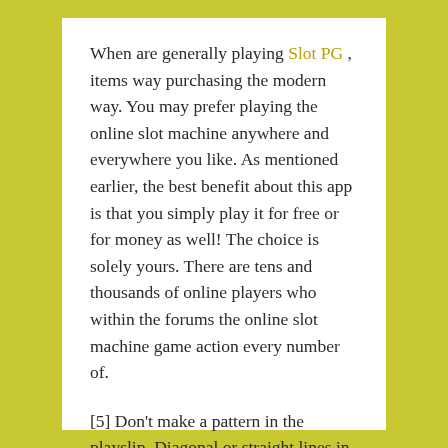When are generally playing Slot PG , items way purchasing the modern way. You may prefer playing the online slot machine anywhere and everywhere you like. As mentioned earlier, the best benefit about this app is that you simply play it for free or for money as well! The choice is solely yours. There are tens and thousands of online players who within the forums the online slot machine game action every number of.
[5] Don't make a pattern in the playslip. Diagonal or straight lines in any direction, star shapes, boxes, zig-zags other individuals. You might think who else would do so? The answer is anywhere from superslot slot online casino tens of people to tens of THOUSANDS men and women!